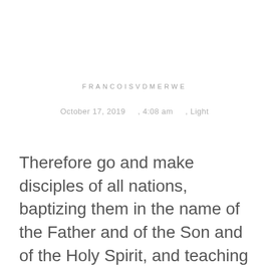FRANCOISVDMERWE
October 17, 2019      , 4:08 am      , Light
Therefore go and make disciples of all nations, baptizing them in the name of the Father and of the Son and of the Holy Spirit, and teaching them to obey everything